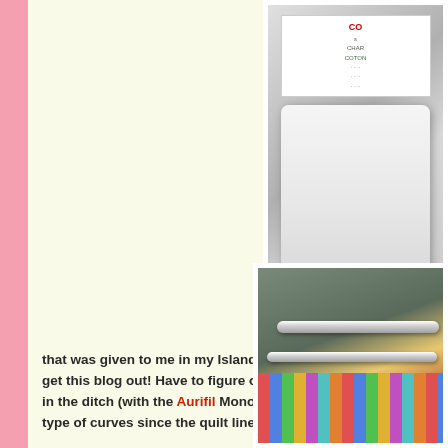[Figure (photo): Photo of a white batting/pillow product package with red and green label text showing 'CO' and 'COTON' branding, product sitting on gray surface]
that was given to me in my Island Batik box, and put it on m... get this blog out! Have to figure out how to quilt it now (the... in the ditch (with the Aurifil Monofilament thread that I was... type of curves since the quilt lines are all straight.
[Figure (photo): Photo of a longarm quilting machine with white horizontal bars/rails, showing colorful striped quilt fabric loaded on the frame, taken in a quilting room]